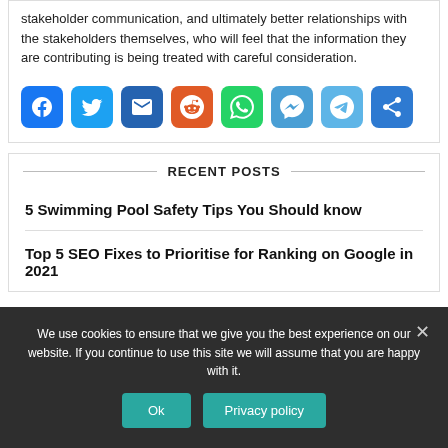stakeholder communication, and ultimately better relationships with the stakeholders themselves, who will feel that the information they are contributing is being treated with careful consideration.
[Figure (other): Row of social media sharing icons: Facebook, Twitter, Email, Reddit, WhatsApp, Messenger, Telegram, Share/More]
RECENT POSTS
5 Swimming Pool Safety Tips You Should know
Top 5 SEO Fixes to Prioritise for Ranking on Google in 2021
We use cookies to ensure that we give you the best experience on our website. If you continue to use this site we will assume that you are happy with it.